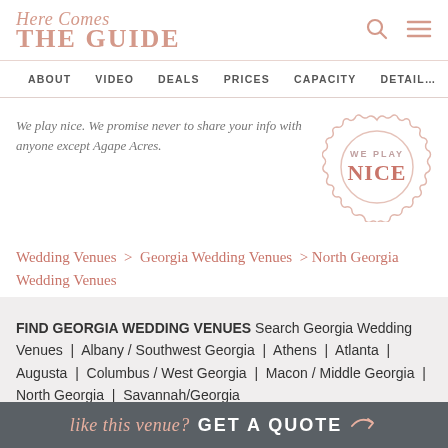Here Comes THE GUIDE
ABOUT   VIDEO   DEALS   PRICES   CAPACITY   DETAILS
We play nice. We promise never to share your info with anyone except Agape Acres.
[Figure (illustration): WE PLAY NICE badge/seal graphic in pink/rose color]
Wedding Venues > Georgia Wedding Venues > North Georgia Wedding Venues
FIND GEORGIA WEDDING VENUES Search Georgia Wedding Venues | Albany / Southwest Georgia | Athens | Atlanta | Augusta | Columbus / West Georgia | Macon / Middle Georgia | North Georgia | Savannah/Georgia
like this venue? GET A QUOTE